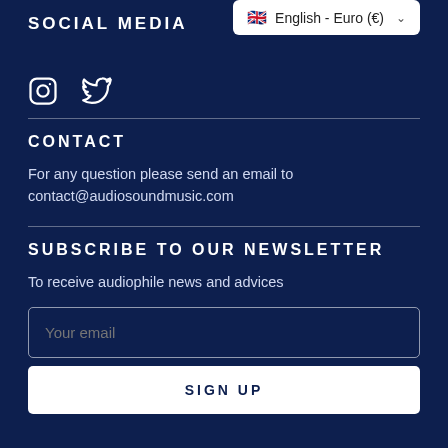SOCIAL MEDIA
[Figure (other): Language/currency selector showing English - Euro (€) with UK flag and dropdown chevron]
[Figure (other): Social media icons: Instagram and Twitter]
CONTACT
For any question please send an email to contact@audiosoundmusic.com
SUBSCRIBE TO OUR NEWSLETTER
To receive audiophile news and advices
Your email
SIGN UP